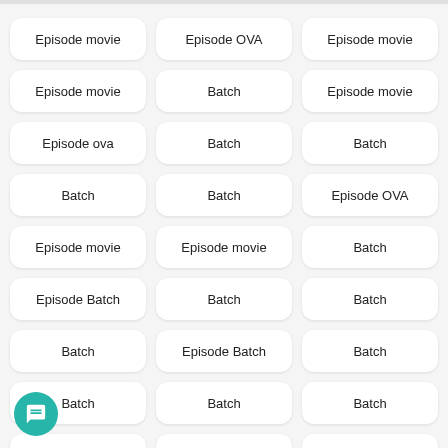Episode movie
Episode OVA
Episode movie
Episode movie
Batch
Episode movie
Episode ova
Batch
Batch
Batch
Batch
Episode OVA
Episode movie
Episode movie
Batch
Episode Batch
Batch
Batch
Batch
Episode Batch
Batch
Batch
Batch
Batch
Batch
Episode ova
Batch